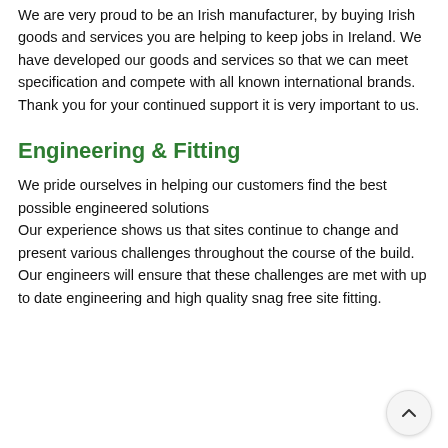We are very proud to be an Irish manufacturer, by buying Irish goods and services you are helping to keep jobs in Ireland. We have developed our goods and services so that we can meet specification and compete with all known international brands. Thank you for your continued support it is very important to us.
Engineering & Fitting
We pride ourselves in helping our customers find the best possible engineered solutions
Our experience shows us that sites continue to change and present various challenges throughout the course of the build. Our engineers will ensure that these challenges are met with up to date engineering and high quality snag free site fitting.